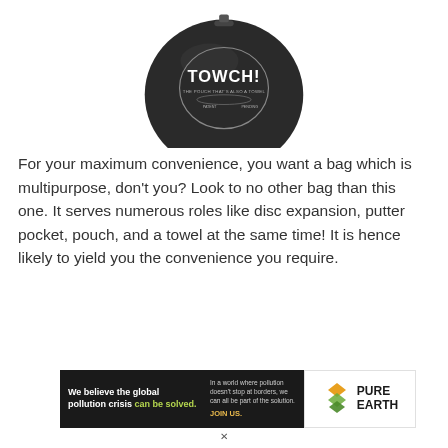[Figure (photo): Dark circular disc golf bag/pouch with 'TOWCH!' logo text on it, partially cropped at top of page]
For your maximum convenience, you want a bag which is multipurpose, don't you? Look to no other bag than this one. It serves numerous roles like disc expansion, putter pocket, pouch, and a towel at the same time! It is hence likely to yield you the convenience you require.
[Figure (infographic): Pure Earth advertisement banner: black background left section reads 'We believe the global pollution crisis can be solved.' with 'can be solved.' in green. Right text reads 'In a world where pollution doesn't stop at borders, we can all be part of the solution. JOIN US.' in yellow. Right section shows Pure Earth logo with diamond/chevron shapes and 'PURE EARTH' text.]